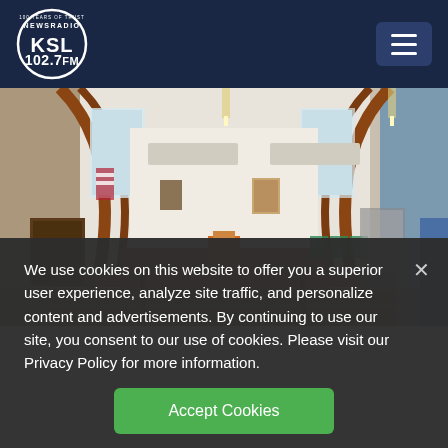[Figure (logo): KSL NewsRadio 102.7 FM logo - circle with KSL text and '100 Years of Trust' tagline]
[Figure (photo): Interior of a church or courtroom with wooden pews, arched ceiling with exposed wooden beams, and a front area with chairs and a podium]
We use cookies on this website to offer you a superior user experience, analyze site traffic, and personalize content and advertisements. By continuing to use our site, you consent to our use of cookies. Please visit our Privacy Policy for more information.
Accept Cookies